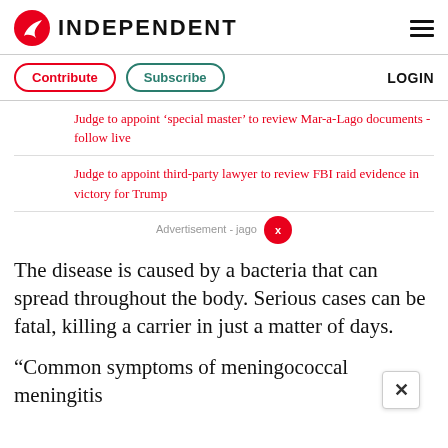INDEPENDENT
Contribute  Subscribe  LOGIN
Judge to appoint ‘special master’ to review Mar-a-Lago documents - follow live
Judge to appoint third-party lawyer to review FBI raid evidence in victory for Trump
Advertisement - jago
The disease is caused by a bacteria that can spread throughout the body. Serious cases can be fatal, killing a carrier in just a matter of days.
“Common symptoms of meningococcal meningitis include...